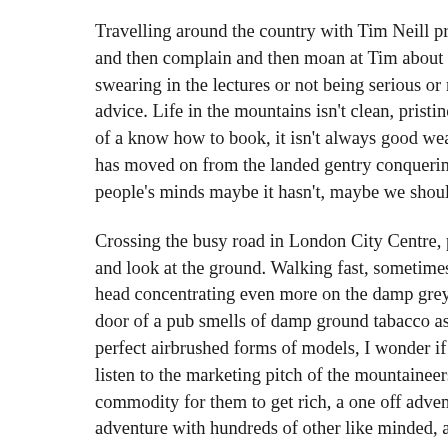Travelling around the country with Tim Neill presenting the BM and then complain and then moan at Tim about some people's a swearing in the lectures or not being serious or not delivering th advice. Life in the mountains isn't clean, pristine, innocent – it i of a know how to book, it isn't always good weather and perfec has moved on from the landed gentry conquering with their lack people's minds maybe it hasn't, maybe we should all just be stif
Crossing the busy road in London City Centre, people shoulder and look at the ground. Walking fast, sometimes they catch you head concentrating even more on the damp grey pavement. A st door of a pub smells of damp ground tabacco ash. Large banne perfect airbrushed forms of models, I wonder if this is how the r listen to the marketing pitch of the mountaineers who sell the be commodity for them to get rich, a one off adventure as long as y adventure with hundreds of other like minded, as long as you do shit?  The pavements, like the shiney ash boxes are full to overf their existence, into the city life, life is grinding them grey. The